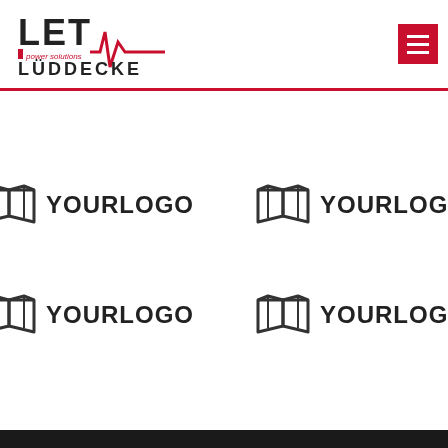[Figure (logo): LET power solutions Lüddecke logo with red heartbeat line]
[Figure (logo): Red hamburger menu button (three white lines on red background)]
[Figure (logo): Map/book icon with YOURLOGO text (top-left)]
[Figure (logo): Map/book icon with YOURLOGO text (top-right)]
[Figure (logo): Map/book icon with YOURLOGO text (bottom-left)]
[Figure (logo): Map/book icon with YOURLOGO text (bottom-right)]